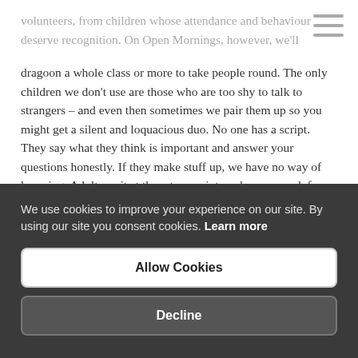volunteers, from children whose attendance and behaviour deserve recognition. On Open Mornings, however, we'll dragoon a whole class or more to take people round. The only children we don't use are those who are too shy to talk to strangers – and even then sometimes we pair them up so you might get a silent and loquacious duo. No one has a script. They say what they think is important and answer your questions honestly. If they make stuff up, we have no way of knowing. Adults wait at the return point, and you can ask for interpretation then if your guide has befuzzled you.
Sir M says 'ask them about progress since primary schools and if they're in sets or mixed-ability classes.' It sounds as though he
We use cookies to improve your experience on our site. By using our site you consent cookies. Learn more
Allow Cookies
Decline